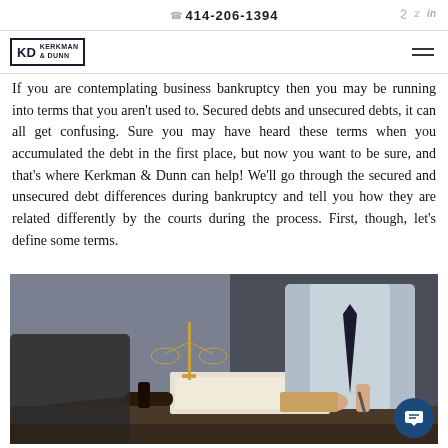414-206-1394
If you are contemplating business bankruptcy then you may be running into terms that you aren't used to. Secured debts and unsecured debts, it can all get confusing. Sure you may have heard these terms when you accumulated the debt in the first place, but now you want to be sure, and that's where Kerkman & Dunn can help! We'll go through the secured and unsecured debt differences during bankruptcy and tell you how they are related differently by the courts during the process. First, though, let's define some terms.
[Figure (photo): A lawyer sitting across a desk from a client, with legal documents on the desk, a gavel, and scales of justice in the background.]